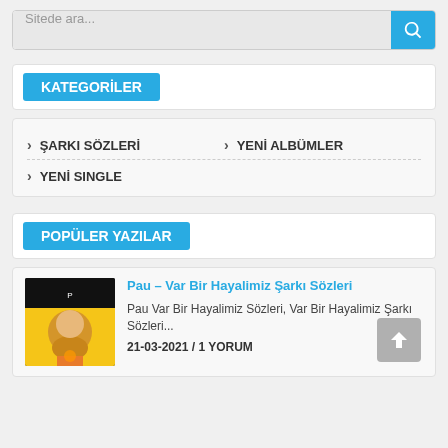Sitede ara...
KATEGORİLER
ŞARKI SÖZLERİ
YENİ ALBÜMLER
YENİ SINGLE
POPÜLER YAZILAR
Pau – Var Bir Hayalimiz Şarkı Sözleri
Pau Var Bir Hayalimiz Sözleri, Var Bir Hayalimiz Şarkı Sözleri...
21-03-2021 / 1 YORUM